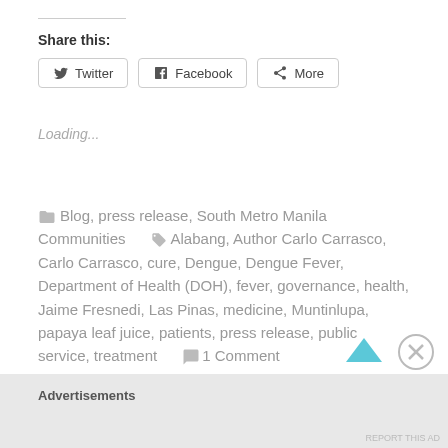Share this:
[Figure (screenshot): Social share buttons: Twitter, Facebook, More]
Loading...
Blog, press release, South Metro Manila Communities   Alabang, Author Carlo Carrasco, Carlo Carrasco, cure, Dengue, Dengue Fever, Department of Health (DOH), fever, governance, health, Jaime Fresnedi, Las Pinas, medicine, Muntinlupa, papaya leaf juice, patients, press release, public service, treatment   1 Comment
Advertisements